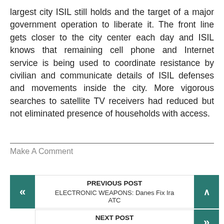largest city ISIL still holds and the target of a major government operation to liberate it. The front line gets closer to the city center each day and ISIL knows that remaining cell phone and Internet service is being used to coordinate resistance by civilian and communicate details of ISIL defenses and movements inside the city. More vigorous searches to satellite TV receivers had reduced but not eliminated presence of households with access.
Make A Comment
PREVIOUS POST
ELECTRONIC WEAPONS: Danes Fix Ira ATC
NEXT POST
NIGERIA: State Of Siege